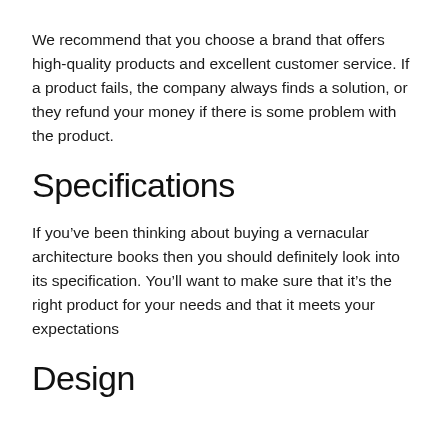We recommend that you choose a brand that offers high-quality products and excellent customer service. If a product fails, the company always finds a solution, or they refund your money if there is some problem with the product.
Specifications
If you've been thinking about buying a vernacular architecture books then you should definitely look into its specification. You'll want to make sure that it's the right product for your needs and that it meets your expectations
Design